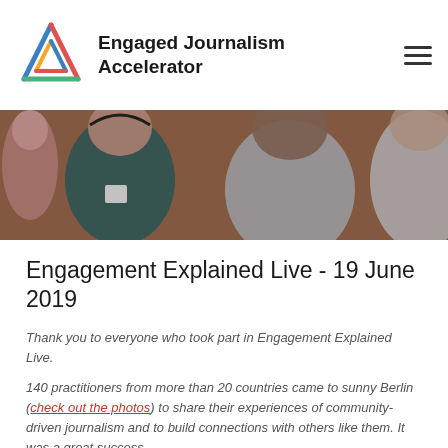Engaged Journalism Accelerator
[Figure (photo): Group of people in conversation at an event, brick wall background]
Engagement Explained Live - 19 June 2019
Thank you to everyone who took part in Engagement Explained Live.
140 practitioners from more than 20 countries came to sunny Berlin (check out the photos) to share their experiences of community-driven journalism and to build connections with others like them. It was a great success.
If you couldn't make it, we published a blog post with tips and advice for